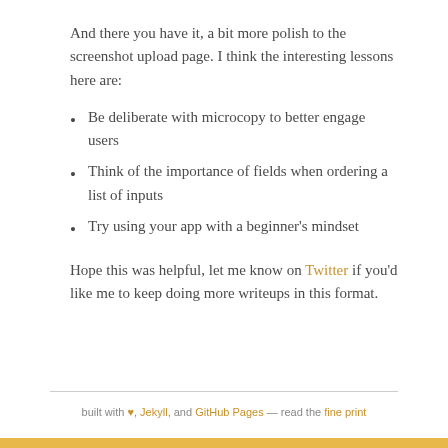And there you have it, a bit more polish to the screenshot upload page. I think the interesting lessons here are:
Be deliberate with microcopy to better engage users
Think of the importance of fields when ordering a list of inputs
Try using your app with a beginner's mindset
Hope this was helpful, let me know on Twitter if you'd like me to keep doing more writeups in this format.
built with ♥, Jekyll, and GitHub Pages — read the fine print